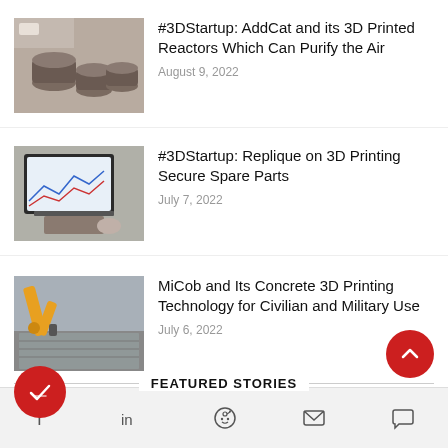[Figure (photo): Small 3D printed cylindrical reactor objects on a surface]
#3DStartup: AddCat and its 3D Printed Reactors Which Can Purify the Air
August 9, 2022
[Figure (photo): Person working at a computer monitor showing graphs/data]
#3DStartup: Replique on 3D Printing Secure Spare Parts
July 7, 2022
[Figure (photo): Yellow robotic arm printing concrete structure]
MiCob and Its Concrete 3D Printing Technology for Civilian and Military Use
July 6, 2022
FEATURED STORIES
Social share icons: Facebook, LinkedIn, Reddit, Email, Comment